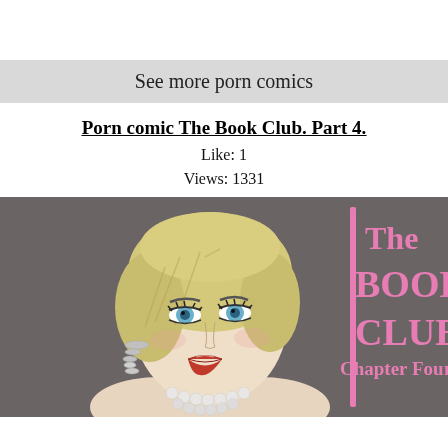See more porn comics
Porn comic The Book Club. Part 4.
Like: 1
Views: 1331
[Figure (illustration): Comic book cover illustration showing a stylized blonde woman with short hair, blue eyes, red lips, diamond earrings, and pearl necklace on a dark gray background. Pink text on the right reads 'The BOOK CLUB Chapter Four' with a vertical pink bar accent.]